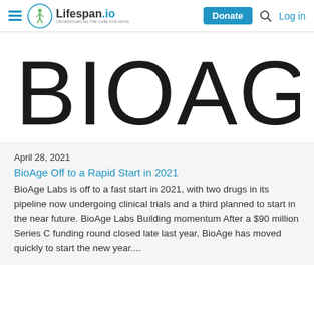Lifespan.io — Donate  Log in
[Figure (logo): BioAge company logo in large black text on white background]
April 28, 2021
BioAge Off to a Rapid Start in 2021
BioAge Labs is off to a fast start in 2021, with two drugs in its pipeline now undergoing clinical trials and a third planned to start in the near future. BioAge Labs Building momentum After a $90 million Series C funding round closed late last year, BioAge has moved quickly to start the new year....